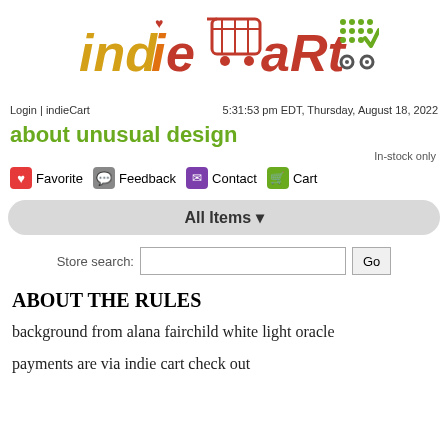[Figure (logo): indieCart logo with colorful shopping cart graphic and word art]
Login | indieCart    5:31:53 pm EDT, Thursday, August 18, 2022
about unusual design
In-stock only
Favorite  Feedback  Contact  Cart
All Items
Store search:
ABOUT THE RULES
background from alana fairchild white light oracle
payments are via indie cart check out